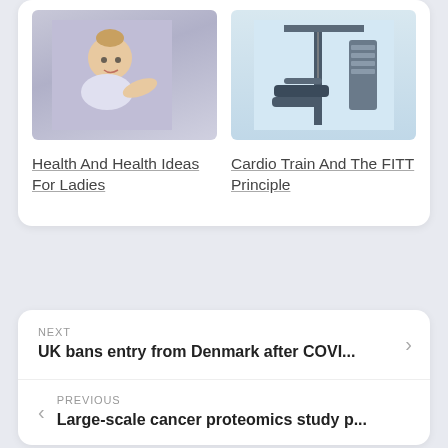[Figure (photo): Baby crawling against a light purple/lavender background]
[Figure (photo): Gym equipment / weight machine on a light blue background]
Health And Health Ideas For Ladies
Cardio Train And The FITT Principle
NEXT
UK bans entry from Denmark after COVI...
PREVIOUS
Large-scale cancer proteomics study p...